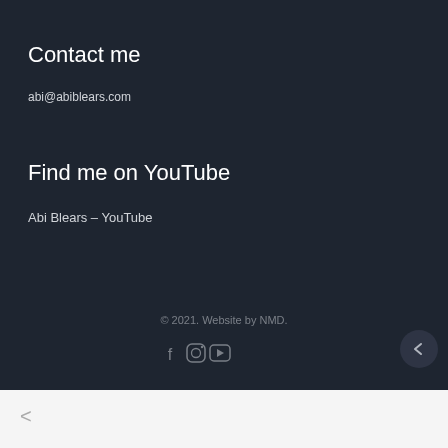Contact me
abi@abiblears.com
Find me on YouTube
Abi Blears – YouTube
© 2021. Website by NMD.
[Figure (illustration): Social media icons: Facebook, Instagram, YouTube]
<